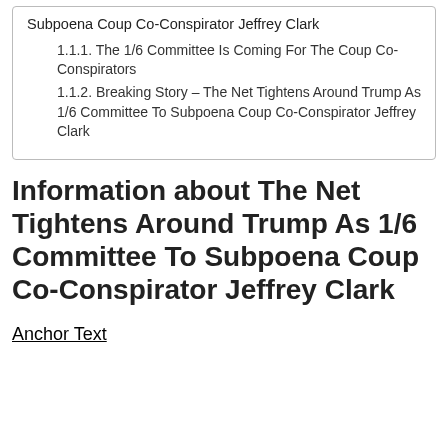Subpoena Coup Co-Conspirator Jeffrey Clark
1.1.1. The 1/6 Committee Is Coming For The Coup Co-Conspirators
1.1.2. Breaking Story – The Net Tightens Around Trump As 1/6 Committee To Subpoena Coup Co-Conspirator Jeffrey Clark
Information about The Net Tightens Around Trump As 1/6 Committee To Subpoena Coup Co-Conspirator Jeffrey Clark
Anchor Text